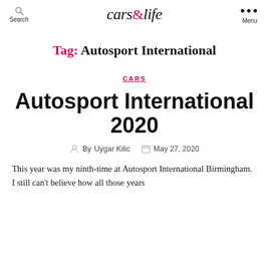Search | cars&life | Menu
Tag: Autosport International
CARS
Autosport International 2020
By Uygar Kilic  May 27, 2020
This year was my ninth-time at Autosport International Birmingham. I still can't believe how all those years